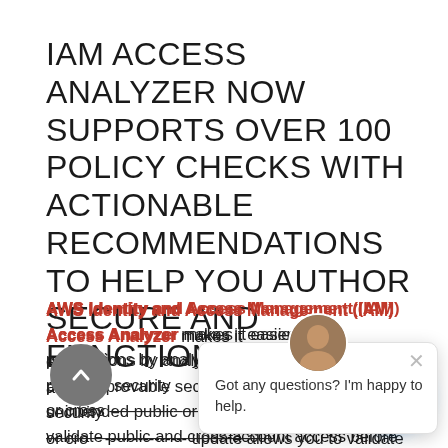IAM ACCESS ANALYZER NOW SUPPORTS OVER 100 POLICY CHECKS WITH ACTIONABLE RECOMMENDATIONS TO HELP YOU AUTHOR SECURE AND FUNCTIONAL POLICIES
AWS Identity and Access Management (IAM) Access Analyzer makes it easier to set, verify, and refine permissions by analyzing access and then using automated reasoning to provide provable security assertions about who can access—or not access—unintended public or cross-account access. A recent update allows you to validate public and cross-account access before deploying permissions changes. Now we are extending policy validation in IAM Access Analyzer by adding over 100 policy checks with actionable
[Figure (other): Chat popup overlay with user avatar, close button, and message 'Got any questions? I'm happy to help.']
[Figure (other): Scroll-to-top circular grey button with upward chevron arrow]
[Figure (other): Blue circular chat button (Intercom or similar chat widget) in bottom right corner]